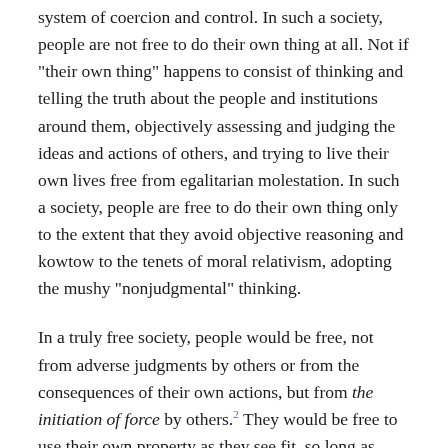system of coercion and control. In such a society, people are not free to do their own thing at all. Not if "their own thing" happens to consist of thinking and telling the truth about the people and institutions around them, objectively assessing and judging the ideas and actions of others, and trying to live their own lives free from egalitarian molestation. In such a society, people are free to do their own thing only to the extent that they avoid objective reasoning and kowtow to the tenets of moral relativism, adopting the mushy "nonjudgmental" thinking.
In a truly free society, people would be free, not from adverse judgments by others or from the consequences of their own actions, but from the initiation of force by others.2 They would be free to use their own property as they see fit, so long as their actions do not violate the rights of others. In such a society, people would be free to engage in all manner of alternative lifestyles — from heavy drug use to polygamy, nudism, or communitarian living — but they would not be allowed to force